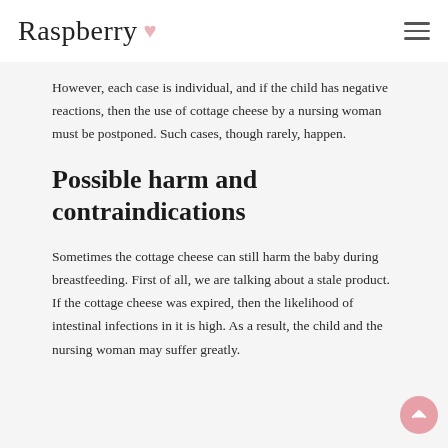Raspberry
However, each case is individual, and if the child has negative reactions, then the use of cottage cheese by a nursing woman must be postponed. Such cases, though rarely, happen.
Possible harm and contraindications
Sometimes the cottage cheese can still harm the baby during breastfeeding. First of all, we are talking about a stale product. If the cottage cheese was expired, then the likelihood of intestinal infections in it is high. As a result, the child and the nursing woman may suffer greatly.